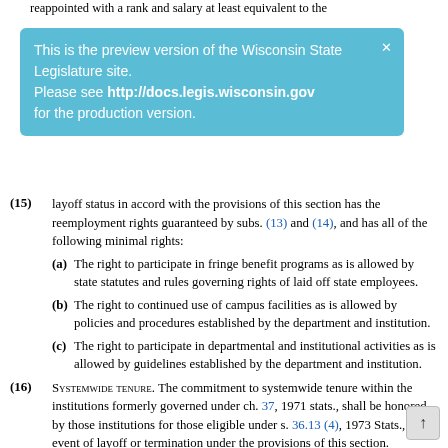reappointed with a rank and salary at least equivalent to the
This is the preview version of the Wisconsin State Legislature site. Please see http://docs.legis.wisconsin.gov for the production version.
(15) ... layoff status in accord with the provisions of this section has the reemployment rights guaranteed by subs. (13) and (14), and has all of the following minimal rights:
(a) The right to participate in fringe benefit programs as is allowed by state statutes and rules governing rights of laid off state employees.
(b) The right to continued use of campus facilities as is allowed by policies and procedures established by the department and institution.
(c) The right to participate in departmental and institutional activities as is allowed by guidelines established by the department and institution.
(16) Systemwide Tenure. The commitment to systemwide tenure within the institutions formerly governed under ch. 37, 1971 stats., shall be honored by those institutions for those eligible under s. 36.13 (4), 1973 Stats., in the event of layoff or termination under the provisions of this section.
(17) Lack of Faculty Action. If the faculty of an institution is